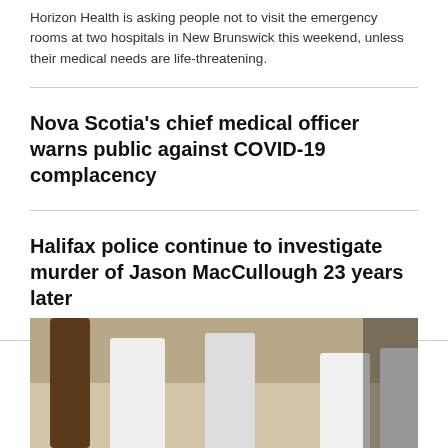Horizon Health is asking people not to visit the emergency rooms at two hospitals in New Brunswick this weekend, unless their medical needs are life-threatening.
Nova Scotia's chief medical officer warns public against COVID-19 complacency
Halifax police continue to investigate murder of Jason MacCullough 23 years later
LONDON >
[Figure (photo): Group of people outdoors, appearing to walk together, with a tree visible on the left and a dark blurred area on the right.]